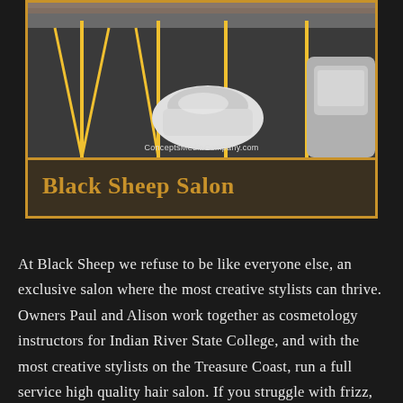[Figure (photo): Aerial/overhead view of a parking lot with yellow parking lines on dark asphalt, showing two vehicles parked — a white car in the center and a grey/silver car on the right edge.]
Black Sheep Salon
At Black Sheep we refuse to be like everyone else, an exclusive salon where the most creative stylists can thrive. Owners Paul and Alison work together as cosmetology instructors for Indian River State College, and with the most creative stylists on the Treasure Coast, run a full service high quality hair salon. If you struggle with frizz, flyaway hairs, and hair that takes forever to dry? Try Black Sheep's